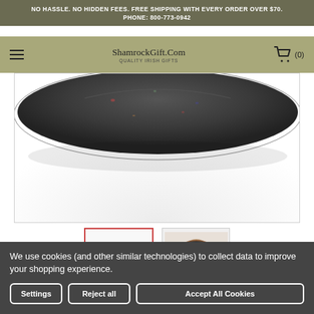NO HASSLE. NO HIDDEN FEES. FREE SHIPPING WITH EVERY ORDER OVER $70.
PHONE: 800-773-0942
ShamrockGift.Com QUALITY IRISH GIFTS
[Figure (photo): Close-up top view of a dark tweed flat cap hat]
[Figure (photo): Thumbnail: dark tweed flat cap, top view]
[Figure (photo): Thumbnail: woman wearing a dark flat cap]
We use cookies (and other similar technologies) to collect data to improve your shopping experience.
Settings
Reject all
Accept All Cookies